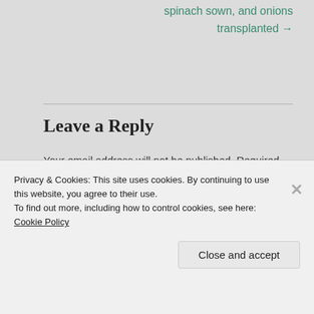spinach sown, and onions transplanted →
Leave a Reply
Your email address will not be published. Required fields are marked *
Comment *
Privacy & Cookies: This site uses cookies. By continuing to use this website, you agree to their use.
To find out more, including how to control cookies, see here: Cookie Policy
Close and accept